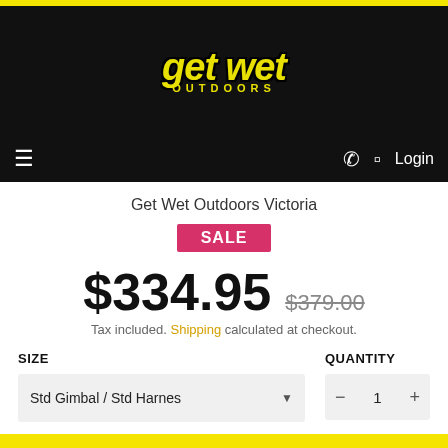[Figure (logo): Get Wet Outdoors logo in yellow italic text on black background]
≡  📞  🛒  Login
Get Wet Outdoors Victoria
SALE
$334.95  $379.00
Tax included. Shipping calculated at checkout.
SIZE
QUANTITY
Std Gimbal / Std Harness
1